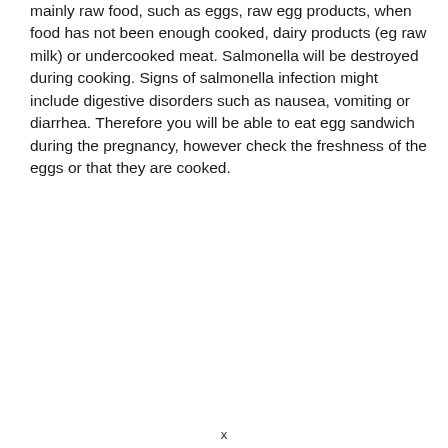mainly raw food, such as eggs, raw egg products, when food has not been enough cooked, dairy products (eg raw milk) or undercooked meat. Salmonella will be destroyed during cooking. Signs of salmonella infection might include digestive disorders such as nausea, vomiting or diarrhea. Therefore you will be able to eat egg sandwich during the pregnancy, however check the freshness of the eggs or that they are cooked.
x